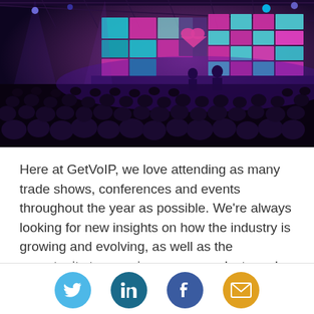[Figure (photo): A large conference or trade show venue filled with audience members in silhouette, facing a colorful stage backdrop with large LED screens displaying a mosaic of teal, magenta, and cyan squares. The venue has an industrial ceiling with truss lighting. The scene is bathed in purple and blue stage lighting.]
Here at GetVoIP, we love attending as many trade shows, conferences and events throughout the year as possible. We're always looking for new insights on how the industry is growing and evolving, as well as the opportunity to experience new products and innovations first hand.
[Figure (infographic): Social media share buttons: Twitter (bird icon, light blue circle), LinkedIn (in icon, dark teal circle), Facebook (f icon, dark blue circle), Email (envelope icon, amber/gold circle).]